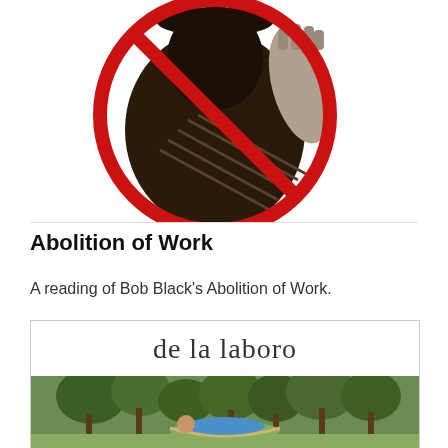[Figure (illustration): A black and white woodcut-style illustration of a person shoveling or working, with a red circle-and-slash 'no' symbol overlaid on top, indicating prohibition of work.]
Abolition of Work
A reading of Bob Black's Abolition of Work.
[Figure (photo): A book or publication cover showing the text 'de la laboro' in large serif font on white background, with a photograph below of a person relaxing outdoors in a hammock or similar, surrounded by trees.]